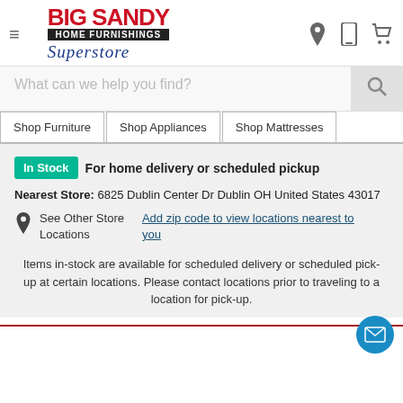[Figure (logo): Big Sandy Home Furnishings Superstore logo with red block text, black banner, and blue cursive script]
What can we help you find?
Shop Furniture
Shop Appliances
Shop Mattresses
In Stock  For home delivery or scheduled pickup
Nearest Store: 6825 Dublin Center Dr Dublin OH United States 43017
See Other Store Locations
Add zip code to view locations nearest to you
Items in-stock are available for scheduled delivery or scheduled pick-up at certain locations. Please contact locations prior to traveling to a location for pick-up.